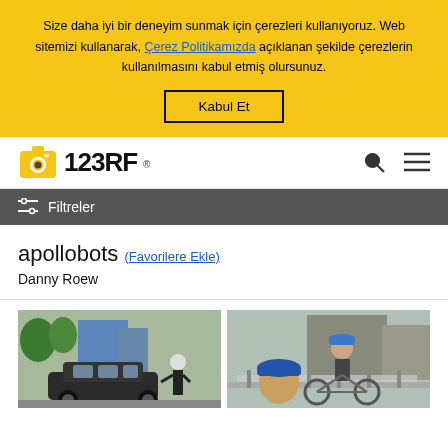Size daha iyi bir deneyim sunmak için çerezleri kullanıyoruz. Web sitemizi kullanarak, Çerez Politikamızda açıklanan şekilde çerezlerin kullanılmasını kabul etmiş olursunuz.
Kabul Et
[Figure (logo): 123RF logo with yellow camera icon and bold black 123RF text]
Filtreler
apollobots (Favorilere Ekle)
Danny Roew
[Figure (photo): Street scene showing a person in dark clothing next to a dark SUV vehicle on a city street]
[Figure (photo): Outdoor scene with a person wearing a blue cap on a bicycle or scooter on a city street with barriers]